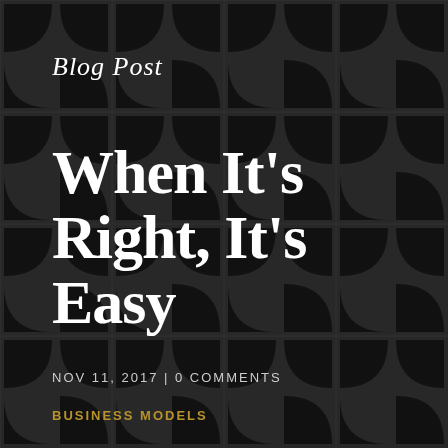[Figure (illustration): Dark grid pattern background with rounded square/circle shapes arranged in a repeating grid, colors dark grey and black]
Blog Post
When It’s Right, It’s Easy
NOV 11, 2017 | 0 COMMENTS
BUSINESS MODELS